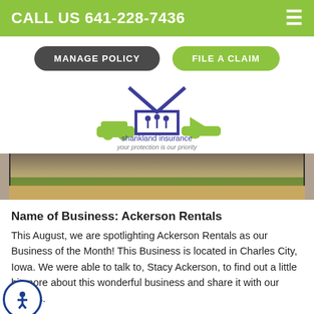CALL US 641-228-7436
MANAGE POLICY | FILE A CLAIM
[Figure (logo): Shankland Insurance logo with house, car, people, and boat icons. Text: shankland insurance, your protection is our priority]
[Figure (photo): Exterior photo of a building or property, partially visible]
Name of Business: Ackerson Rentals
This August, we are spotlighting Ackerson Rentals as our Business of the Month! This Business is located in Charles City, Iowa. We were able to talk to, Stacy Ackerson, to find out a little bit more about this wonderful business and share it with our visitors.